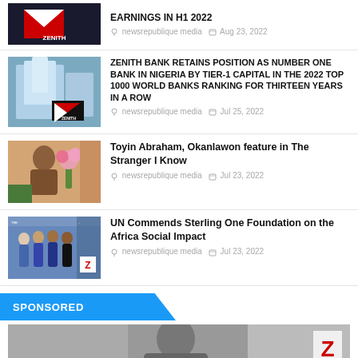EARNINGS IN H1 2022
newsrepublique media  Aug 23, 2022
[Figure (photo): Zenith Bank building exterior with logo]
ZENITH BANK RETAINS POSITION AS NUMBER ONE BANK IN NIGERIA BY TIER-1 CAPITAL IN THE 2022 TOP 1000 WORLD BANKS RANKING FOR THIRTEEN YEARS IN A ROW
newsrepublique media  Jul 25, 2022
[Figure (photo): Woman with flowers - Toyin Abraham]
Toyin Abraham, Okanlawon feature in The Stranger I Know
newsrepublique media  Jul 23, 2022
[Figure (photo): Group of people at an event - Sterling One Foundation]
UN Commends Sterling One Foundation on the Africa Social Impact
newsrepublique media  Jul 23, 2022
SPONSORED
[Figure (photo): Black and white photo of person with Zenith Bank Z logo]